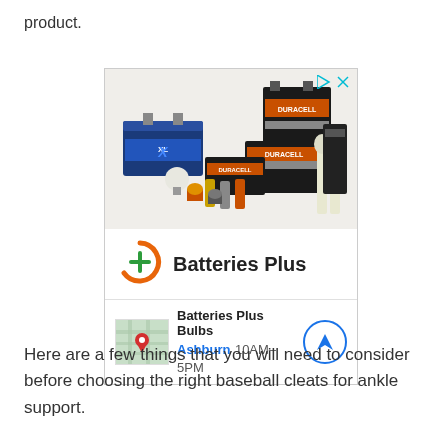product.
[Figure (photo): Advertisement for Batteries Plus featuring Duracell battery products, brand logo with orange circle and green plus sign, and a local store listing for Batteries Plus Bulbs in Ashburn showing hours 10AM-5PM with a map thumbnail and navigation button.]
Here are a few things that you will need to consider before choosing the right baseball cleats for ankle support.